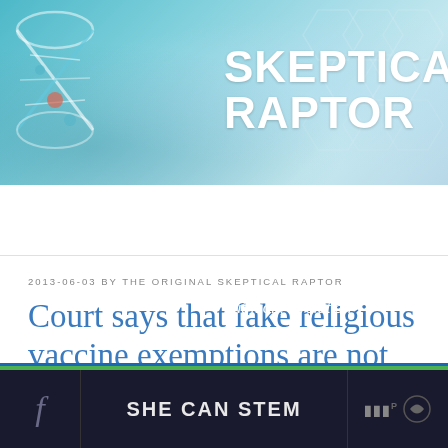SKEPTICAL RAPTOR
Science of vaccines, cancer, nutrition, evolution
≡ Menu
2013-06-03 BY THE ORIGINAL SKEPTICAL RAPTOR
Court says that fake religious vaccine exemptions are not protected by the First
SHE CAN STEM